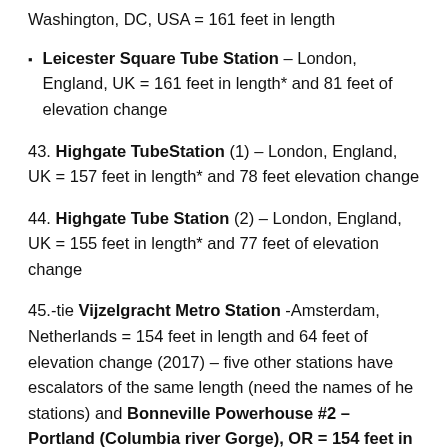Washington, DC, USA = 161 feet in length
Leicester Square Tube Station – London, England, UK = 161 feet in length* and 81 feet of elevation change
43. Highgate TubeStation (1) – London, England, UK = 157 feet in length* and 78 feet elevation change
44. Highgate Tube Station (2) – London, England, UK = 155 feet in length* and 77 feet of elevation change
45.-tie Vijzelgracht Metro Station -Amsterdam, Netherlands = 154 feet in length and 64 feet of elevation change (2017) – five other stations have escalators of the same length (need the names of he stations) and Bonneville Powerhouse #2 – Portland (Columbia river Gorge), OR = 154 feet in length and 66 feet of elevation